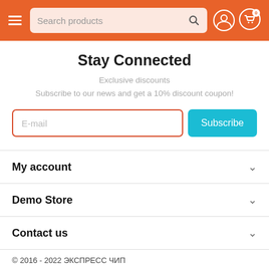Search products — navigation header with hamburger menu, search bar, user icon, cart icon
Stay Connected
Exclusive discounts
Subscribe to our news and get a 10% discount coupon!
E-mail [input field] Subscribe [button]
My account
Demo Store
Contact us
© 2016 - 2022 ЭКСПРЕСС ЧИП